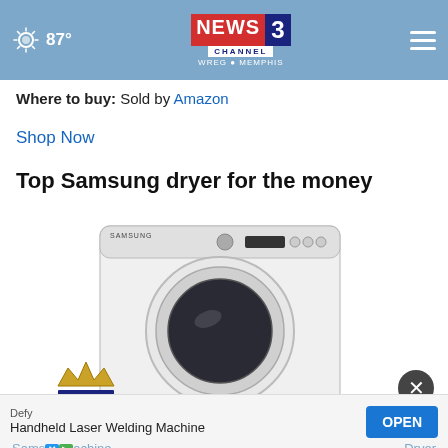NEWS CHANNEL 3 WREG MEMPHIS | 87°
Where to buy: Sold by Amazon
Shop Now
Top Samsung dryer for the money
[Figure (photo): White Samsung front-load dryer with circular door window]
[Figure (logo): Crown icon with two horizontal bars below it]
Defy
Handheld Laser Welding Machine
OPEN
Samsung ... | Dryer